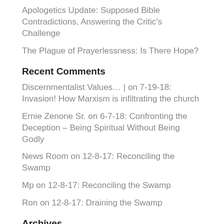Apologetics Update: Supposed Bible Contradictions, Answering the Critic's Challenge
The Plague of Prayerlessness: Is There Hope?
Recent Comments
Discernmentalist Values… | on 7-19-18: Invasion! How Marxism is infiltrating the church
Ernie Zenone Sr. on 6-7-18: Confronting the Deception – Being Spiritual Without Being Godly
News Room on 12-8-17: Reconciling the Swamp
Mp on 12-8-17: Reconciling the Swamp
Ron on 12-8-17: Draining the Swamp
Archives
August 2022